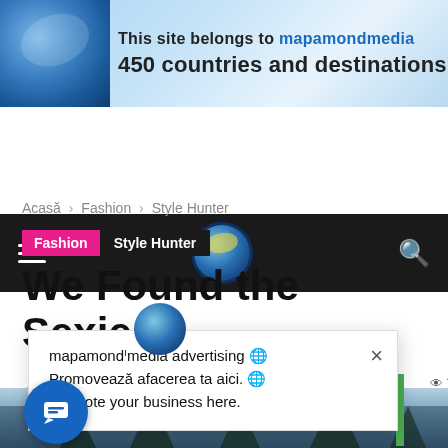[Figure (screenshot): Banner with globe map image and text: This site belongs to mapamondmedia 450 countries and destinations]
[Figure (screenshot): Dark navigation bar with hamburger menu, globe logo, and search icon]
Acasă › Fashion › Style Hunter
Fashion   Style Hunter
We Found the Sexiest ... nternet
[Figure (screenshot): Popup with globe icon showing: mapamondmedia advertising - Promovează afacerea ta aici. Promote your business here. With close X button]
[Figure (photo): Winter scene with snow-covered trees, dark atmospheric sky]
[Figure (screenshot): Blue circular chat button in lower left corner]